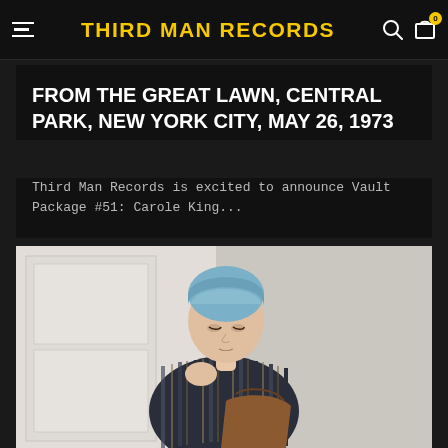THIRD MAN RECORDS
FROM THE GREAT LAWN, CENTRAL PARK, NEW YORK CITY, MAY 26, 1973
Third Man Records is excited to announce Vault Package #51: Carole King...
[Figure (photo): Person with blue hair wearing a striped blazer, seated and looking down, in a light interior setting]